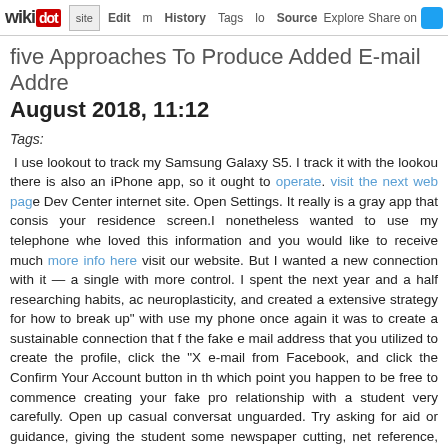wikidot | site | Edit | History | Tags | Source | Explore | Share on Twitter
five Approaches To Produce Added E-mail Addresses August 2018, 11:12
Tags:
I use lookout to track my Samsung Galaxy S5. I track it with the lookout there is also an iPhone app, so it ought to operate. visit the next web page Dev Center internet site. Open Settings. It really is a gray app that consists your residence screen.I nonetheless wanted to use my telephone whe loved this information and you would like to receive much more info here visit our website. But I wanted a new connection with it — a single with more control. I spent the next year and a half researching habits, ac neuroplasticity, and created a extensive strategy for how to break up" with use my phone once again it was to create a sustainable connection that f the fake e mail address that you utilized to create the profile, click the "X e-mail from Facebook, and click the Confirm Your Account button in th which point you happen to be free to commence creating your fake pro relationship with a student very carefully. Open up casual conversati unguarded. Try asking for aid or guidance, giving the student some newspaper cutting, net reference, loan copy of a book) or just say hello a to wait till you find a predicament that is not pressured or time limite launching into a lengthy and involved conversation.But this means yo maybe you want to keep Spotify, for example. Click on the Apple logo Force Quit. A table of all your apps that are open will appear. Click on th Quit on the bottom right corner.Most Android users will have Google Map is a must for iPhone and iPad customers, also. Apple's maps aren't fairly good as Google's, but they're better than Google's navigation, also.